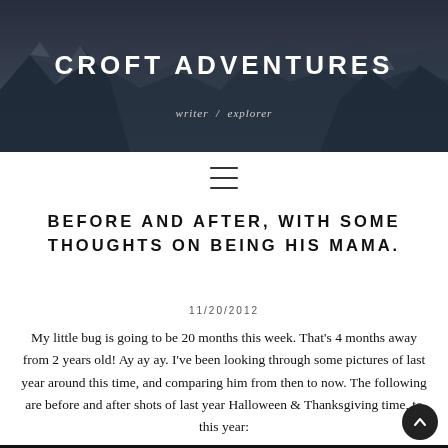[Figure (photo): Mountain landscape header banner with snow-capped peaks and cloudy sky, dark blue overlay]
CROFT ADVENTURES
writer / explorer
[Figure (other): Hamburger menu icon (three horizontal lines)]
BEFORE AND AFTER, WITH SOME THOUGHTS ON BEING HIS MAMA.
11/20/2012
My little bug is going to be 20 months this week. That's 4 months away from 2 years old! Ay ay ay. I've been looking through some pictures of last year around this time, and comparing him from then to now. The following are before and after shots of last year Halloween & Thanksgiving time, to this year: